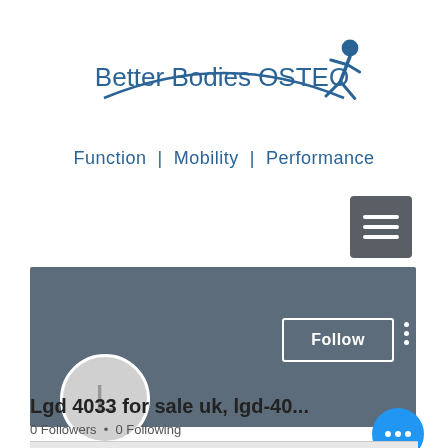[Figure (logo): Better Bodies OSTEO logo with running figure icon and curved underline]
Function  |  Mobility  |  Performance
[Figure (screenshot): Social media profile page showing user profile with avatar 'L', Follow button, 0 Followers, 0 Following, name: Lgd 4033 for sale uk, lgd-40...]
Lgd 4033 for sale uk, lgd-40...
0 Followers  •  0 Following